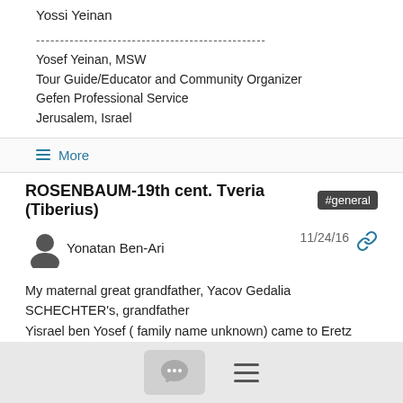Yossi Yeinan
------------------------------------------------
Yosef Yeinan, MSW
Tour Guide/Educator and Community Organizer
Gefen Professional Service
Jerusalem, Israel
≡ More
ROSENBAUM-19th cent. Tveria (Tiberius) #general
Yonatan Ben-Ari  11/24/16
My maternal great grandfather, Yacov Gedalia SCHECHTER's, grandfather
Yisrael ben Yosef ( family name unknown) came to Eretz Yisrael